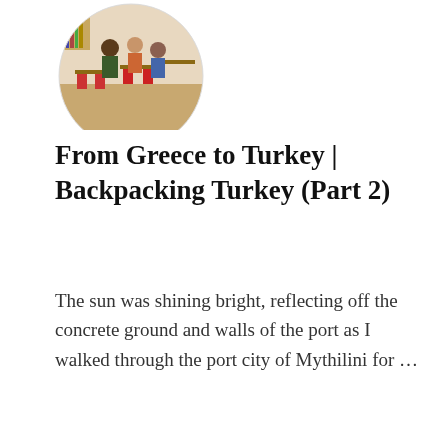[Figure (photo): Circular profile/thumbnail image showing people in what appears to be a classroom or cafe setting with tables and chairs, partially cropped at top]
From Greece to Turkey | Backpacking Turkey (Part 2)
The sun was shining bright, reflecting off the concrete ground and walls of the port as I walked through the port city of Mythilini for …
Read More
[Figure (photo): Circular thumbnail image partially visible at bottom, showing blue sky and a small red/white circular badge or flag emblem (appears to be Turkish flag motif)]